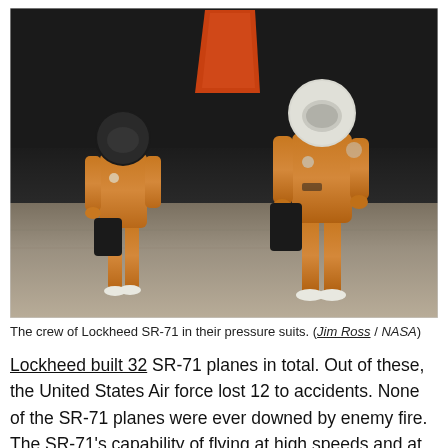[Figure (photo): Two crew members of the Lockheed SR-71 standing on a tarmac in front of the dark aircraft, wearing orange full-body pressure suits with white helmets. The aircraft's orange tail fin is visible in the background.]
The crew of Lockheed SR-71 in their pressure suits. (Jim Ross / NASA)
Lockheed built 32 SR-71 planes in total. Out of these, the United States Air force lost 12 to accidents. None of the SR-71 planes were ever downed by enemy fire. The SR-71's capability of flying at high speeds and at high altitudes made it possible